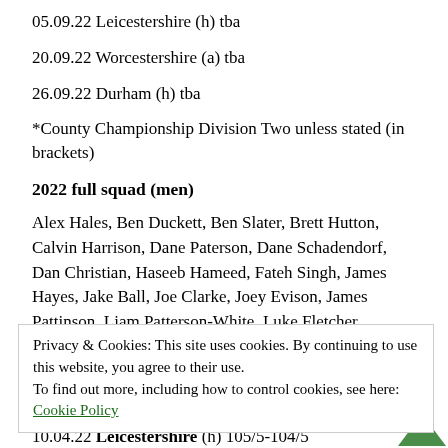05.09.22 Leicestershire (h) tba
20.09.22 Worcestershire (a) tba
26.09.22 Durham (h) tba
*County Championship Division Two unless stated (in brackets)
2022 full squad (men)
Alex Hales, Ben Duckett, Ben Slater, Brett Hutton, Calvin Harrison, Dane Paterson, Dane Schadendorf, Dan Christian, Haseeb Hameed, Fateh Singh, James Hayes, Jake Ball, Joe Clarke, Joey Evison, James Pattinson, Liam Patterson-White, Luke Fletcher, Lyndon James, Matt Carter, Liam Price, Samit
Privacy & Cookies: This site uses cookies. By continuing to use this website, you agree to their use.
To find out more, including how to control cookies, see here:
Cookie Policy
Close and accept
10.04.22 Leicestershire (h) 105/5-104/5